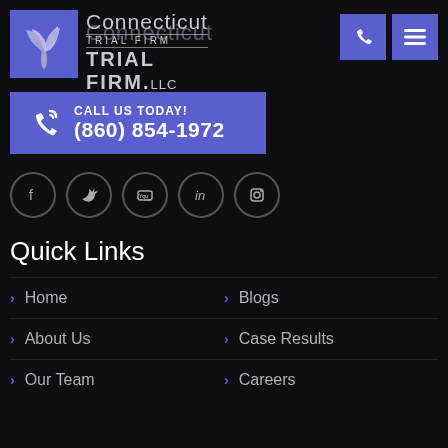[Figure (logo): Connecticut Trial Firm LLC logo with purple square leaf icon and firm name text]
CALL US TODAY! (860) 854-1972
[Figure (infographic): Social media icons: Facebook, Twitter, YouTube, LinkedIn, Instagram in circular outlines]
Quick Links
Home
Blogs
About Us
Case Results
Our Team
Careers